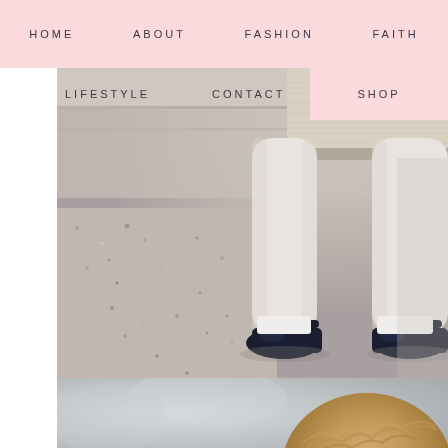HOME   ABOUT   FASHION   FAITH
LIFESTYLE   CONTACT   SHOP
[Figure (photo): Close-up photo of a child's legs wearing white tights and navy patent Mary Jane shoes, standing on terrazzo/speckled stone ground. Above shows a beige/cream knit skirt or dress hem.]
[Figure (photo): Partial photo showing the top of a child's head with curly/wavy blonde hair, blurred background with teal/green element.]